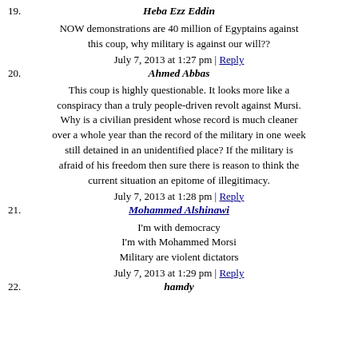19. Heba Ezz Eddin
NOW demonstrations are 40 million of Egyptains against this coup, why military is against our will??
July 7, 2013 at 1:27 pm | Reply
20. Ahmed Abbas
This coup is highly questionable. It looks more like a conspiracy than a truly people-driven revolt against Mursi. Why is a civilian president whose record is much cleaner over a whole year than the record of the military in one week still detained in an unidentified place? If the military is afraid of his freedom then sure there is reason to think the current situation an epitome of illegitimacy.
July 7, 2013 at 1:28 pm | Reply
21. Mohammed Alshinawi
I'm with democracy
I'm with Mohammed Morsi
Military are violent dictators
July 7, 2013 at 1:29 pm | Reply
22. hamdy